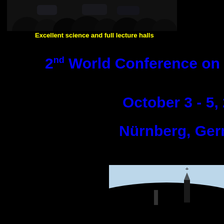[Figure (photo): Photo of people sitting in a lecture hall, viewed from behind, dark background]
Excellent science and full lecture halls
2nd World Conference on Magic Bu
October 3 - 5, 2008
Nürnberg, Germany
[Figure (photo): Partial photo showing a city skyline with a church tower against a light blue sky, bottom right of page]